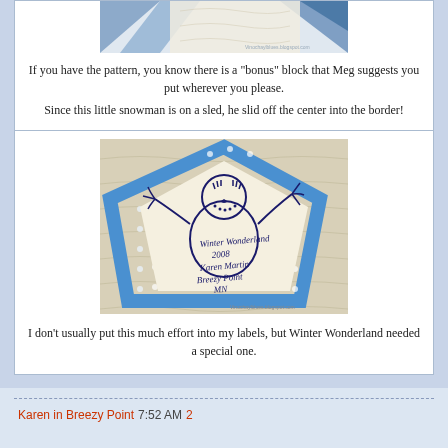[Figure (photo): Close-up photo of a quilt with blue star pattern pieces and quilted background, partial top view]
If you have the pattern, you know there is a "bonus" block that Meg suggests you put wherever you please.
Since this little snowman is on a sled, he slid off the center into the border!
[Figure (photo): Photo of an embroidered quilt label featuring a snowman on a cream fabric with blue polka-dot border trim. The label reads: Winter Wonderland 2008 Karen Martin Breezy Point MN]
I don't usually put this much effort into my labels, but Winter Wonderland needed a special one.
Karen in Breezy Point 7:52 AM 2